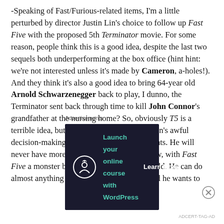-Speaking of Fast/Furious-related items, I'm a little perturbed by director Justin Lin's choice to follow up Fast Five with the proposed 5th Terminator movie. For some reason, people think this is a good idea, despite the last two sequels both underperforming at the box office (hint hint: we're not interested unless it's made by Cameron, a-holes!). And they think it's also a good idea to bring 64-year old Arnold Schwarzenegger back to play, I dunno, the Terminator sent back through time to kill John Connor's grandfather at the nursing home? So, obviously T5 is a terrible idea, but I'm more concerned with Lin's awful decision-making. Dude needs to fire his agents. He will never have more clout than he does right now, with Fast Five a monster box office hit around the world. He can do almost anything he wants as a follow-up, and he wants to
Advertisements
[Figure (other): Advertisement banner: dark background with tree/person icon, text 'Launch your online course with WordPress' and 'Learn More' button]